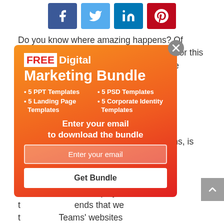[Figure (other): Social media share buttons: Facebook (blue), Twitter (light blue), LinkedIn (blue), Pinterest (red)]
Do you know where amazing happens? Of course there are many different answers for this question but today we mean NBA and the wonderful f... ar Game 2010 in D... quite interesting t... because today w... st any sphere a... of millions, is r...
[Figure (other): Popup modal with orange-red gradient background. Title: FREE Digital Marketing Bundle. Items: 5 PPT Templates, 5 PSD Templates, 5 Landing Page Templates, 5 Corporate Identity Templates. CTA: Enter your email to download the bundle. Email input field and Get Bundle button. Close X button in gray circle.]
T... eally inspiring a... ous players and t... ends that we t... Teams' websites mostly correspond to all requirements for news